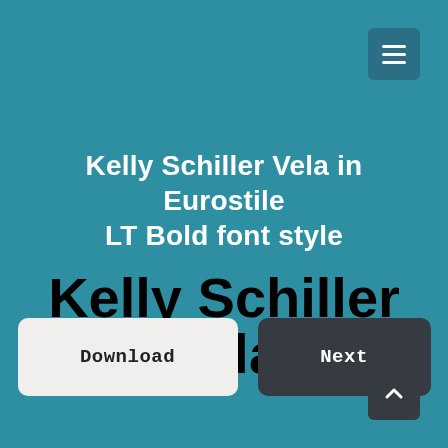[Figure (screenshot): Hamburger menu button icon (three horizontal white lines) in a dark teal square, top-right corner]
Kelly Schiller Vela in Eurostile LT Bold font style
Kelly Schiller Vela
[Figure (screenshot): Download button (light background, dark text) and Next button (dark background, white text) side by side]
[Figure (screenshot): Scroll-to-top button with upward caret, dark background, bottom-right corner]